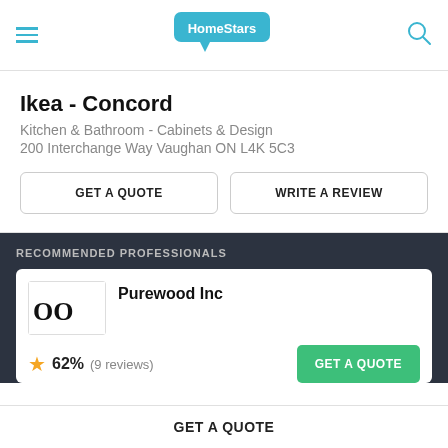HomeStars
Ikea - Concord
Kitchen & Bathroom - Cabinets & Design
200 Interchange Way Vaughan ON L4K 5C3
GET A QUOTE   WRITE A REVIEW
RECOMMENDED PROFESSIONALS
Purewood Inc
[Figure (logo): Purewood Inc logo showing 'OO' letters]
62% (9 reviews)
GET A QUOTE
GET A QUOTE